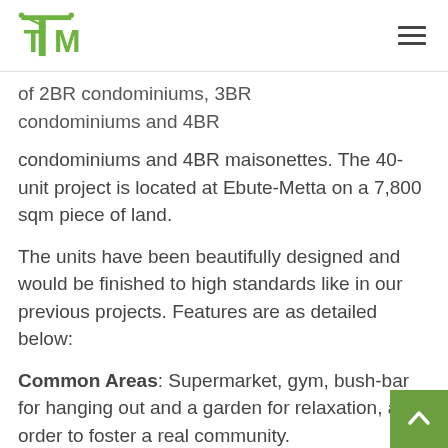TM logo and hamburger menu
of 2BR condominiums, 3BR condominiums and 4BR maisonettes. The 40-unit project is located at Ebute-Metta on a 7,800 sqm piece of land.
The units have been beautifully designed and would be finished to high standards like in our previous projects. Features are as detailed below:
Common Areas: Supermarket, gym, bush-bar for hanging out and a garden for relaxation, all in order to foster a real community.